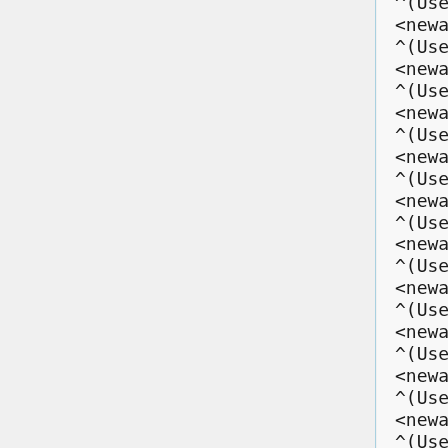^(User:)?sshd$
<newaccountonly>
^(User:)?ssl-cert$
<newaccountonly>
^(User:)?sslwrap$
<newaccountonly>
^(User:)?staff$
<newaccountonly>
^(User:)?statd$
<newaccountonly>
^(User:)?sudo$
<newaccountonly>
^(User:)?sync$
<newaccountonly>
^(User:)?sys$
<newaccountonly>
^(User:)?syslog$
<newaccountonly>
^(User:)?tac-plus$
<newaccountonly>
^(User:)?tape$
<newaccountonly>
^(User:)?telnetd$
<newaccountonly>
^(User:)?tftpd$